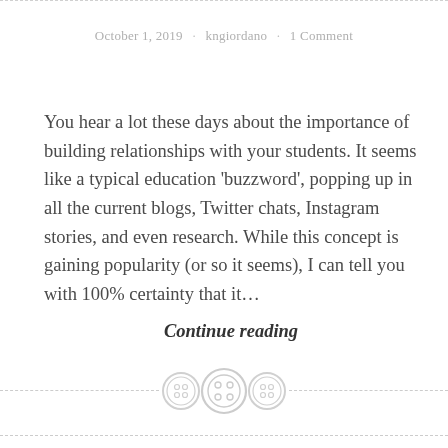October 1, 2019 · kngiordano · 1 Comment
You hear a lot these days about the importance of building relationships with your students. It seems like a typical education 'buzzword', popping up in all the current blogs, Twitter chats, Instagram stories, and even research. While this concept is gaining popularity (or so it seems), I can tell you with 100% certainty that it...
Continue reading
[Figure (illustration): Three decorative button icons arranged horizontally as a section divider — two smaller buttons flanking one larger button, all in light gray, rendered as a divider ornament between sections.]